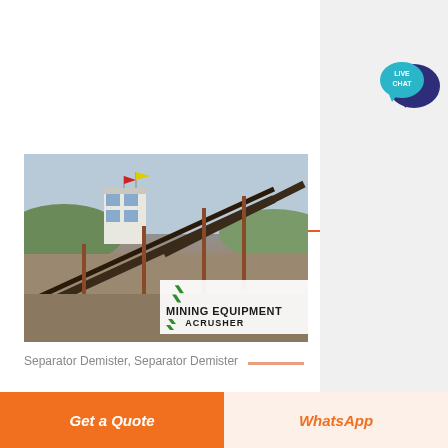[Figure (other): Orange 'Get Price' button on white background]
[Figure (photo): Mining equipment facility with conveyor belts, control tower building, and 'MINING EQUIPMENT ACRUSHER' branding overlay]
Separator Demister, Separator Demister
[Figure (other): Live Chat speech bubble icon in teal and dark blue]
[Figure (other): Bottom bar with orange 'Get a Quote' button and cream 'WhatsApp' button]